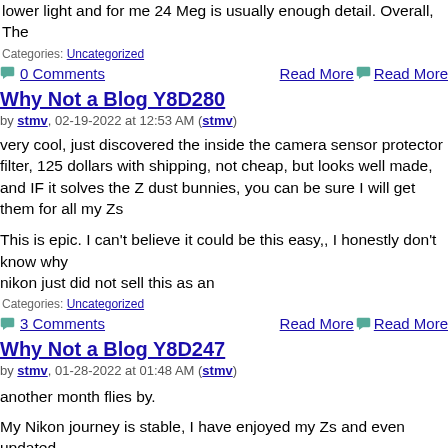lower light and for me 24 Meg is usually enough detail. Overall, The
Categories: Uncategorized
0 Comments   Read More
Why Not a Blog Y8D280
by stmv, 02-19-2022 at 12:53 AM (stmv)
very cool, just discovered the inside the camera sensor protector filter, 125 dollars with shipping, not cheap, but looks well made, and IF it solves the Z dust bunnies, you can be sure I will get them for all my Zs
This is epic. I can't believe it could be this easy,, I honestly don't know why
nikon just did not sell this as an
Categories: Uncategorized
3 Comments   Read More
Why Not a Blog Y8D247
by stmv, 01-28-2022 at 01:48 AM (stmv)
another month flies by.
My Nikon journey is stable, I have enjoyed my Zs and even updated